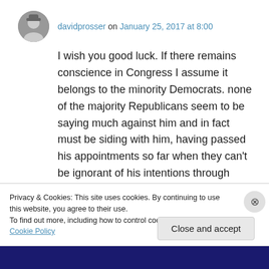davidprosser on January 25, 2017 at 8:00
I wish you good luck. If there remains conscience in Congress I assume it belongs to the minority Democrats. none of the majority Republicans seem to be saying much against him and in fact must be siding with him, having passed his appointments so far when they can’t be ignorant of his intentions through those appointees.
Privacy & Cookies: This site uses cookies. By continuing to use this website, you agree to their use.
To find out more, including how to control cookies, see here: Cookie Policy
Close and accept